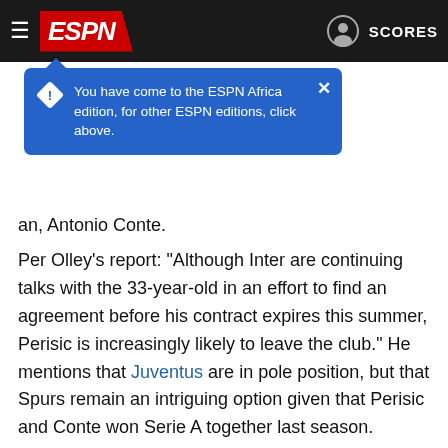ESPN - SCORES
[Figure (screenshot): Blue ESPN Africa edition tooltip popup with warning diamond icon and X close button, text: You have come to the ESPN Africa edition, for other ESPN editions, click above.]
an, Antonio Conte.
Per Olley's report: "Although Inter are continuing talks with the 33-year-old in an effort to find an agreement before his contract expires this summer, Perisic is increasingly likely to leave the club." He mentions that Juventus are in pole position, but that Spurs remain an intriguing option given that Perisic and Conte won Serie A together last season.
16.31 BST: Thomas Tuchel has said he hopes Todd Boehly can become Chelsea's "lucky charm" once his consortium completes their purchase of the club and they can conduct transfer business again.